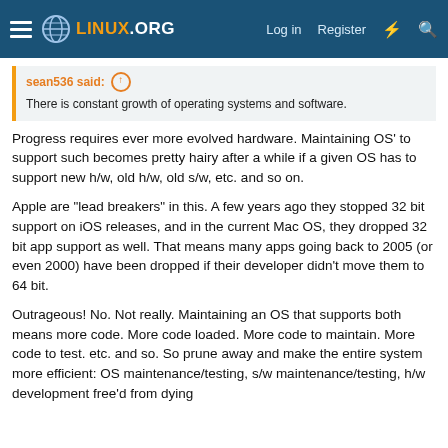LINUX.ORG — Log in  Register
sean536 said: ↑
There is constant growth of operating systems and software.
Progress requires ever more evolved hardware. Maintaining OS' to support such becomes pretty hairy after a while if a given OS has to support new h/w, old h/w, old s/w, etc. and so on.
Apple are "lead breakers" in this. A few years ago they stopped 32 bit support on iOS releases, and in the current Mac OS, they dropped 32 bit app support as well. That means many apps going back to 2005 (or even 2000) have been dropped if their developer didn't move them to 64 bit.
Outrageous! No. Not really. Maintaining an OS that supports both means more code. More code loaded. More code to maintain. More code to test. etc. and so. So prune away and make the entire system more efficient: OS maintenance/testing, s/w maintenance/testing, h/w development free'd from dying